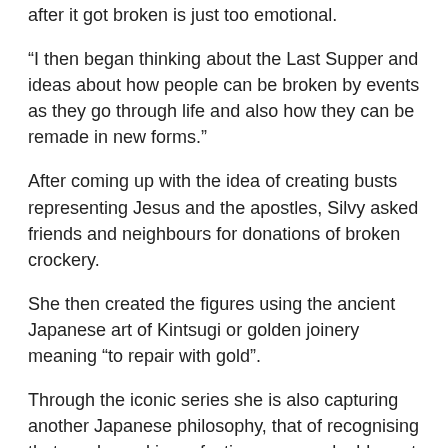after it got broken is just too emotional.
“I then began thinking about the Last Supper and ideas about how people can be broken by events as they go through life and also how they can be remade in new forms.”
After coming up with the idea of creating busts representing Jesus and the apostles, Silvy asked friends and neighbours for donations of broken crockery.
She then created the figures using the ancient Japanese art of Kintsugi or golden joinery meaning “to repair with gold”.
Through the iconic series she is also capturing another Japanese philosophy, that of recognising that cracks and imperfections are a valuable part of an object’s history.
She added: “This series was made as a response to modern-day problems surrounding mental health. Many of